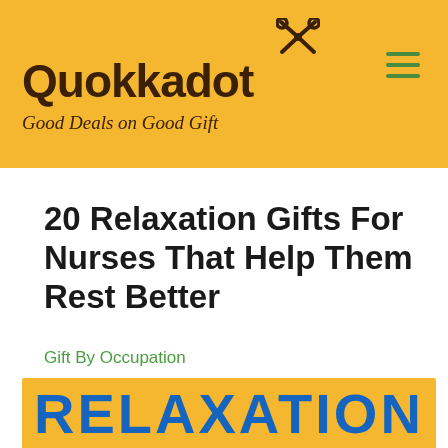[Figure (logo): Quokkadot logo with scissor-like icon above text, on golden/yellow background. Tagline: Good Deals on Good Gift. Hamburger menu icon in top right.]
20 Relaxation Gifts For Nurses That Help Them Rest Better
Gift By Occupation
[Figure (infographic): Golden yellow banner with large bold blue text reading RELAXATION GI (partially visible), with social sharing buttons overlaid at the bottom: Pinterest (red), Facebook (blue), Twitter (light blue), Share (orange).]